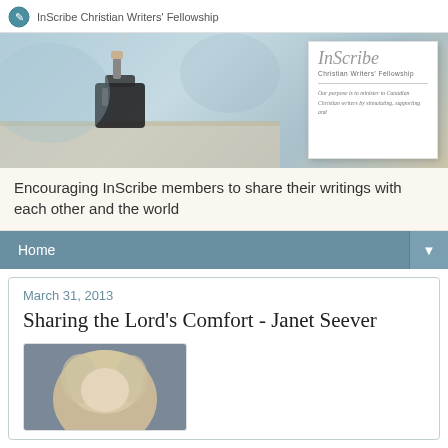InScribe Christian Writers' Fellowship
[Figure (photo): Hero banner with an ink bottle on a wooden surface with teal/blue background, and an InScribe Christian Writers' Fellowship card overlay on the right]
Encouraging InScribe members to share their writings with each other and the world
Home
March 31, 2013
Sharing the Lord's Comfort - Janet Seever
[Figure (photo): Portrait photo of a person with light hair against a dark background]